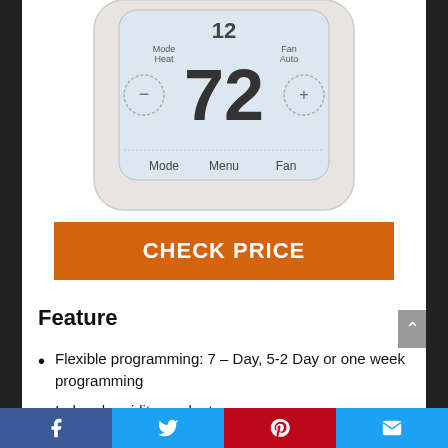[Figure (photo): Thermostat device showing digital display with temperature 72, Mode Heat, Fan Auto, and buttons for Mode, Menu, Fan at the bottom]
CHECK PRICE
Feature
Flexible programming: 7 – Day, 5-2 Day or one week programming
Indoor humidity readout